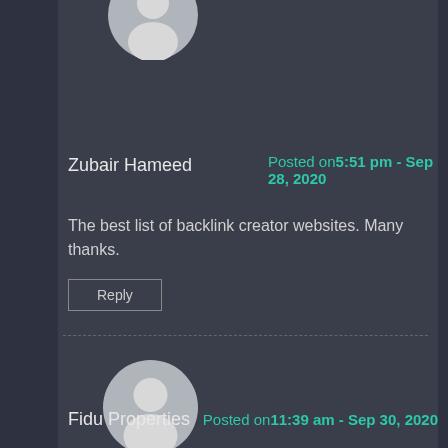[Figure (illustration): Generic user avatar circle partially visible at top of page]
Zubair Hameed
Posted on5:51 pm - Sep 28, 2020
The best list of backlink creator websites. Many thanks.
Reply
[Figure (illustration): Generic user avatar circle for second commenter]
Fidu Properties
Posted on11:39 am - Sep 30, 2020